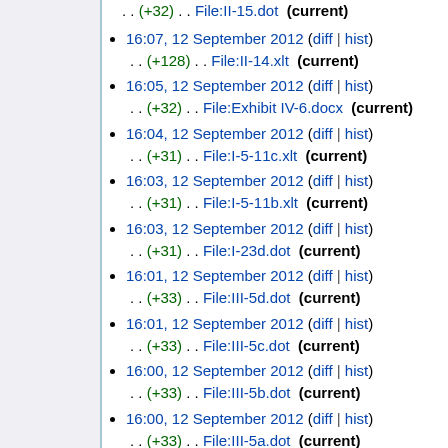. . (+32) . . File:II-15.dot (current)
16:07, 12 September 2012 (diff | hist) . . (+128) . . File:II-14.xlt (current)
16:05, 12 September 2012 (diff | hist) . . (+32) . . File:Exhibit IV-6.docx (current)
16:04, 12 September 2012 (diff | hist) . . (+31) . . File:I-5-11c.xlt (current)
16:03, 12 September 2012 (diff | hist) . . (+31) . . File:I-5-11b.xlt (current)
16:03, 12 September 2012 (diff | hist) . . (+31) . . File:I-23d.dot (current)
16:01, 12 September 2012 (diff | hist) . . (+33) . . File:III-5d.dot (current)
16:01, 12 September 2012 (diff | hist) . . (+33) . . File:III-5c.dot (current)
16:00, 12 September 2012 (diff | hist) . . (+33) . . File:III-5b.dot (current)
16:00, 12 September 2012 (diff | hist) . . (+33) . . File:III-5a.dot (current)